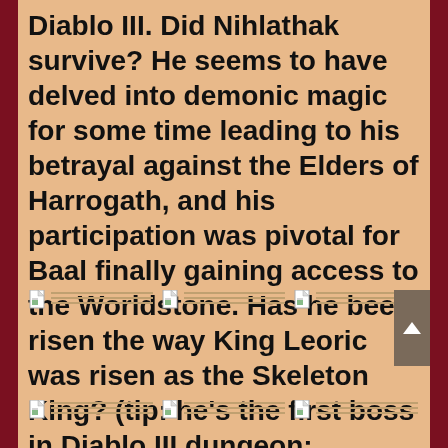Diablo III. Did Nihlathak survive? He seems to have delved into demonic magic for some time leading to his betrayal against the Elders of Harrogath, and his participation was pivotal for Baal finally gaining access to the Worldstone. Has he been risen the way King Leoric was risen as the Skeleton King? (tip: he's the first boss in Diablo III dungeon: Tristram Cathedral)
[Figure (other): Six broken image placeholders arranged in two rows of three, each showing a small document icon and horizontal lines indicating failed image loads.]